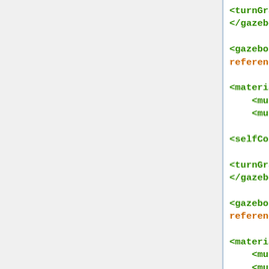<turnGravityOff>false</turnGravityOff>
</gazebo>

<gazebo reference="lata_top_link">

<material>PR2/Grey0</material>
    <mu1>10</mu1>
    <mu2>10</mu2>

<selfCollide>true</selfCollide>

<turnGravityOff>false</turnGravityOff>
</gazebo>

<gazebo reference="lata_bottom_link">

<material>PR2/Grey0</material>
    <mu1>10</mu1>
    <mu2>10</mu2>

<selfCollide>true</selfCollide>

<turnGravityOff>false</turnGravityOff>